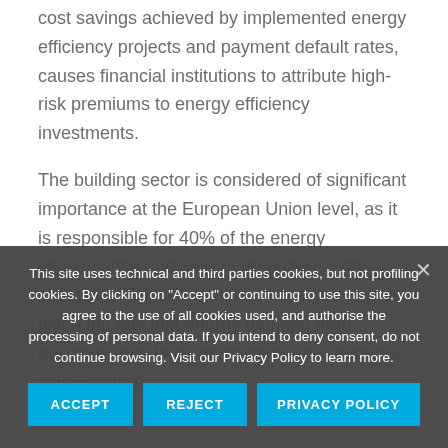cost savings achieved by implemented energy efficiency projects and payment default rates, causes financial institutions to attribute high-risk premiums to energy efficiency investments.
The building sector is considered of significant importance at the European Union level, as it is responsible for 40% of the energy consumption and 36% of greenhouse gas emissions. These trends are expected to grow given the fact that energy demand from buildings and their construction rates continue following the
This site uses technical and third parties cookies, but not profiling cookies. By clicking on "Accept" or continuing to use this site, you agree to the use of all cookies used, and authorise the processing of personal data. If you intend to deny consent, do not continue browsing. Visit our Privacy Policy to learn more.